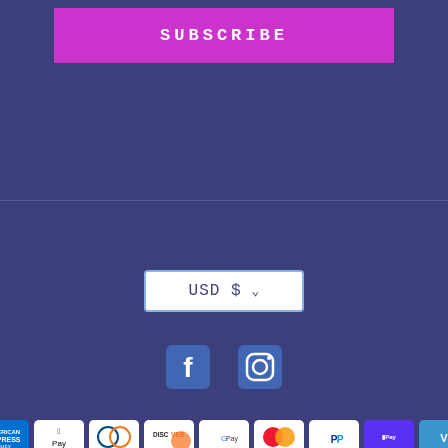SUBSCRIBE
USD $
[Figure (illustration): Facebook and Instagram social media icons]
[Figure (illustration): Payment method badges: American Express, Apple Pay, Diners Club, Discover, Google Pay, Mastercard, PayPal, Shop Pay, Venmo, Visa]
© 2022, Nerd Nails  Powered by Shopify